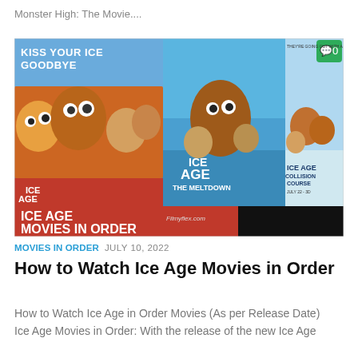Monster High: The Movie....
[Figure (photo): Collage of Ice Age movie posters including Ice Age Collision Course and Ice Age The Meltdown, with text overlays 'Kiss Your Ice Goodbye', 'They're Going Out With A Bang', 'ICE AGE MOVIES IN ORDER', 'Filmyflex.com', comment badge showing 0]
MOVIES IN ORDER  JULY 10, 2022
How to Watch Ice Age Movies in Order
How to Watch Ice Age in Order Movies (As per Release Date) Ice Age Movies in Order: With the release of the new Ice Age